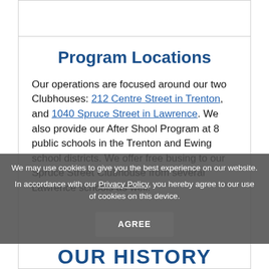Program Locations
Our operations are focused around our two Clubhouses: 212 Centre Street in Trenton, and 1040 Spruce Street in Lawrence. We also provide our After Shool Program at 8 public schools in the Trenton and Ewing school districts. We offer free busing to our Spruce Street Clubhouse from several Lawrence schools as well.
We may use cookies to give you the best experience on our website. In accordance with our Privacy Policy, you hereby agree to our use of cookies on this device.
OUR HISTORY